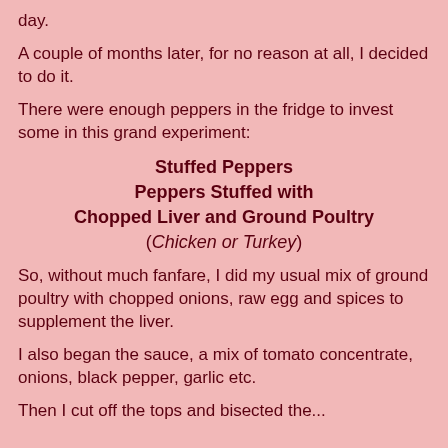day.
A couple of months later, for no reason at all, I decided to do it.
There were enough peppers in the fridge to invest some in this grand experiment:
Stuffed Peppers
Peppers Stuffed with
Chopped Liver and Ground Poultry
(Chicken or Turkey)
So, without much fanfare, I did my usual mix of ground poultry with chopped onions, raw egg and spices to supplement the liver.
I also began the sauce, a mix of tomato concentrate, onions, black pepper, garlic etc.
Then I cut off the tops and bisected the...